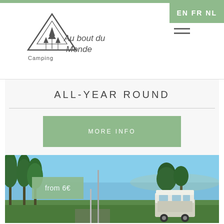[Figure (logo): Camping Au bout du Monde logo with mountain/triangle shape and trees]
EN FR NL
ALL-YEAR ROUND
MORE INFO
[Figure (photo): Outdoor camping scene with a VW camper van parked on green grass, surrounded by tall trees, blue sky background. Overlay badge shows 'from 6€']
from 6€